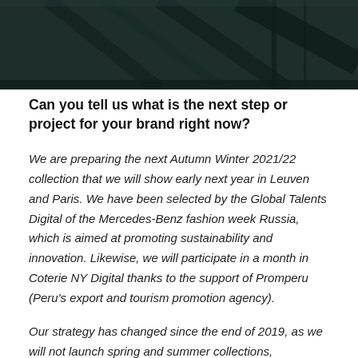[Figure (photo): Dark moody overhead or architectural photo with dark teal/green tones, showing structural lines or surfaces]
Can you tell us what is the next step or project for your brand right now?
We are preparing the next Autumn Winter 2021/22 collection that we will show early next year in Leuven and Paris. We have been selected by the Global Talents Digital of the Mercedes-Benz fashion week Russia, which is aimed at promoting sustainability and innovation. Likewise, we will participate in a month in Coterie NY Digital thanks to the support of Promperu (Peru's export and tourism promotion agency).
Our strategy has changed since the end of 2019, as we will not launch spring and summer collections,